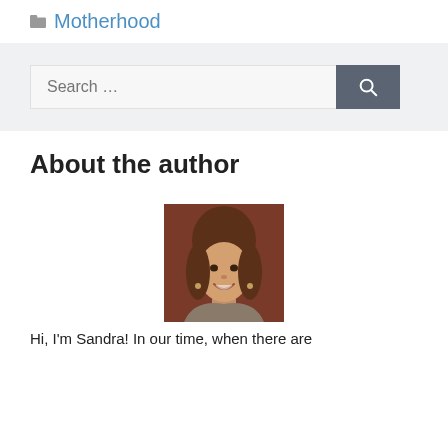Motherhood
Search ...
About the author
[Figure (photo): Portrait photo of a smiling woman with brown hair]
Hi, I'm Sandra! In our time, when there are